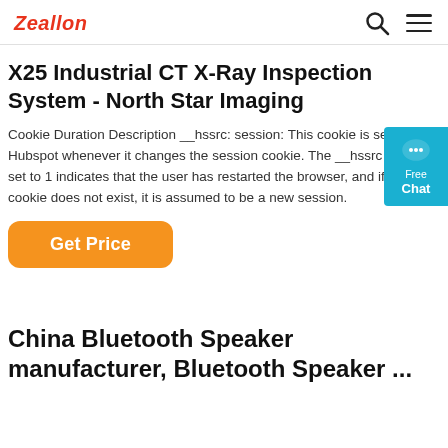Zeallon
X25 Industrial CT X-Ray Inspection System - North Star Imaging
Cookie Duration Description __hssrc: session: This cookie is set by Hubspot whenever it changes the session cookie. The __hssrc cookie set to 1 indicates that the user has restarted the browser, and if the cookie does not exist, it is assumed to be a new session.
Get Price
China Bluetooth Speaker manufacturer, Bluetooth Speaker ...